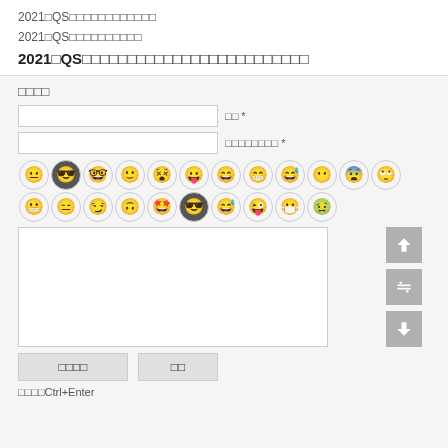2021QS世界大学排名完整版下载
2021QS世界大学排名完整版
2021QS世界大学排名完整版，QS世界大学排名2021最新
发表评论
姓名 *
电子邮件地址 *
[Figure (other): Emoji/emoticon icon row with various smiley face icons]
Comment textarea area
提交评论  提交
按住Ctrl+Enter